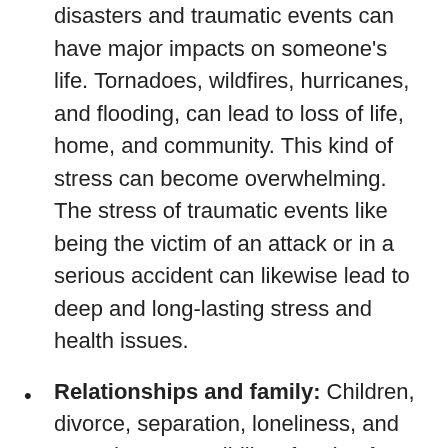disasters and traumatic events can have major impacts on someone's life. Tornadoes, wildfires, hurricanes, and flooding, can lead to loss of life, home, and community. This kind of stress can become overwhelming. The stress of traumatic events like being the victim of an attack or in a serious accident can likewise lead to deep and long-lasting stress and health issues.
Relationships and family: Children, divorce, separation, loneliness, and even the responsibility of caring for a family can have stress impacts. For those dealing with the death of a loved one, sickness, or having to play a role as caregiver for an ill or elderly family member, stress also plays a major role in health and wellness.